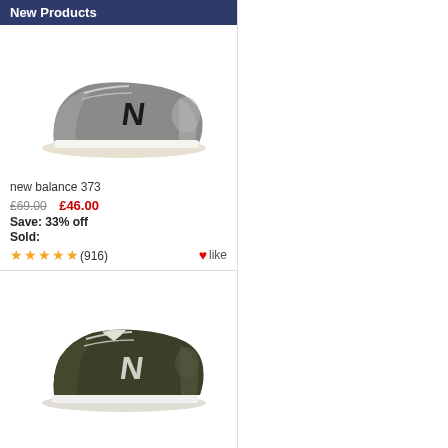New Products
[Figure (photo): Grey New Balance 373 sneaker, side view on white background]
new balance 373
£69.00  £46.00
Save: 33% off
Sold:
★★★★★ (916)  ♥like
[Figure (photo): Dark olive/khaki New Balance 373 sneaker, side view on white background]